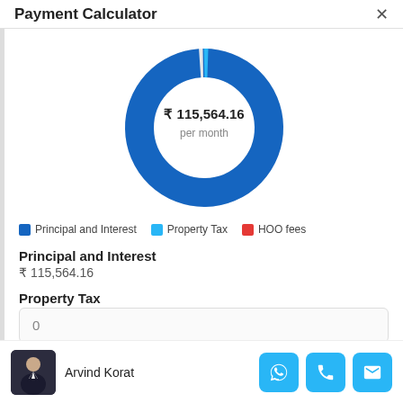Payment Calculator
[Figure (donut-chart): Payment Calculator]
Principal and Interest  Property Tax  HOO fees
Principal and Interest
₹ 115,564.16
Property Tax
0
Arvind Korat